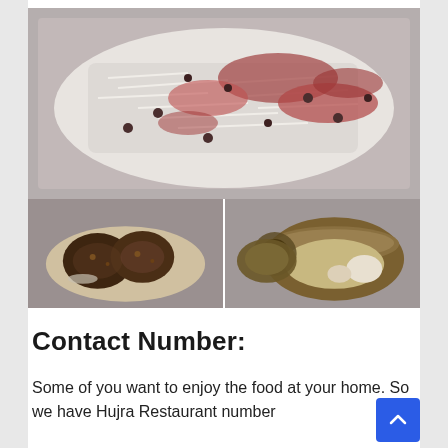[Figure (photo): Three food photos: top shows a large white plate with rice/biryani dish topped with red sauce and scattered nuts/raisins; bottom-left shows dark meat pieces (possibly kebabs/tikka) on a plate; bottom-right shows a traditional metal pot with food inside]
Contact Number:
Some of you want to enjoy the food at your home. So we have Hujra Restaurant number